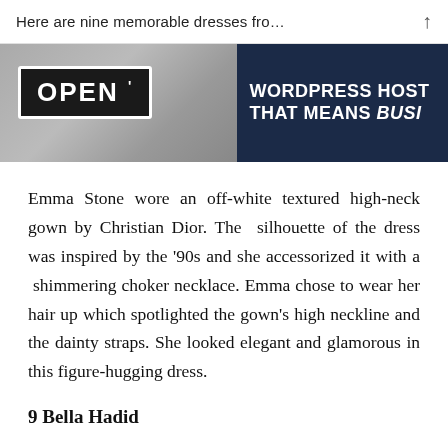Here are nine memorable dresses fro…
[Figure (photo): Ad banner: left side shows a person holding an OPEN sign (dark background with white text), right side shows a dark navy blue block with white bold text reading 'WORDPRESS HOST THAT MEANS BUSI']
Emma Stone wore an off-white textured high-neck gown by Christian Dior. The  silhouette of the dress was inspired by the '90s and she accessorized it with a  shimmering choker necklace. Emma chose to wear her hair up which spotlighted the gown's high neckline and the dainty straps. She looked elegant and glamorous in this figure-hugging dress.
9 Bella Hadid